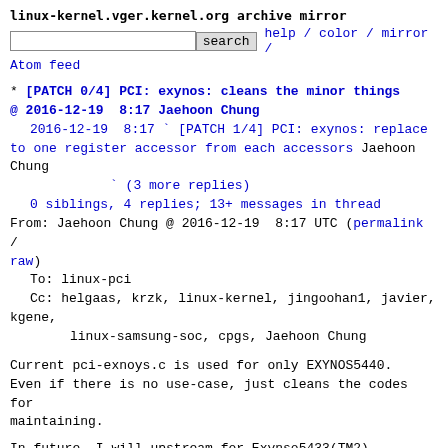linux-kernel.vger.kernel.org archive mirror
search  help / color / mirror / Atom feed
* [PATCH 0/4] PCI: exynos: cleans the minor things
@ 2016-12-19  8:17 Jaehoon Chung
  2016-12-19  8:17 ` [PATCH 1/4] PCI: exynos: replace to one register accessor from each accessors Jaehoon Chung
              ` (3 more replies)
  0 siblings, 4 replies; 13+ messages in thread
From: Jaehoon Chung @ 2016-12-19  8:17 UTC (permalink / raw)
  To: linux-pci
  Cc: helgaas, krzk, linux-kernel, jingoohan1, javier, kgene,
        linux-samsung-soc, cpgs, Jaehoon Chung
Current pci-exnoys.c is used for only EXYNOS5440.
Even if there is no use-case, just cleans the codes for maintaining.

In future, I will upstream for Exynso5433(TM2).
Before sending patches for exynos5433, i want to reuse the some codse in pic-exynos.c.
This patch is for perparing it.

My Final goal is to apply the pcie-exynos5433 into v4.11.